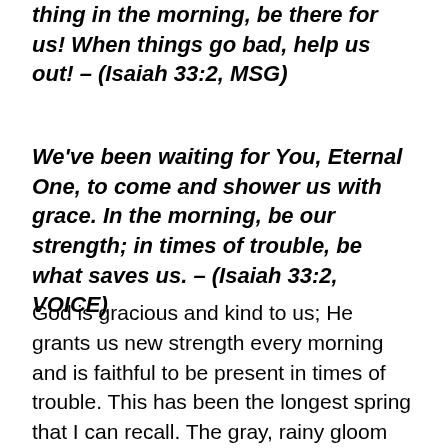thing in the morning, be there for us! When things go bad, help us out! – (Isaiah 33:2, MSG)
We've been waiting for You, Eternal One, to come and shower us with grace. In the morning, be our strength; in times of trouble, be what saves us. – (Isaiah 33:2, VOICE)
God is gracious and kind to us; He grants us new strength every morning and is faithful to be present in times of trouble. This has been the longest spring that I can recall. The gray, rainy gloom has persisted far beyond what is typical this time of year, and the challenges at work with student behaviors and sub